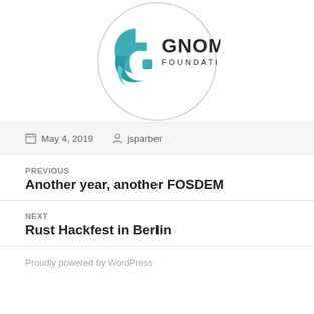[Figure (logo): GNOME Foundation logo inside a circle — teal/turquoise stylized foot icon on left, dark text 'GNOME' large with 'FOUNDATION' smaller below it on the right]
May 4, 2019   jsparber
PREVIOUS
Another year, another FOSDEM
NEXT
Rust Hackfest in Berlin
Proudly powered by WordPress